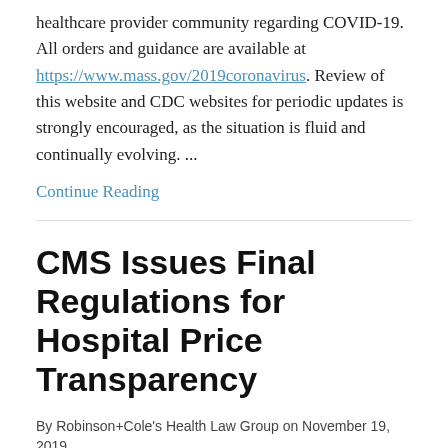healthcare provider community regarding COVID-19.  All orders and guidance are available at https://www.mass.gov/2019coronavirus. Review of this website and CDC websites for periodic updates is strongly encouraged, as the situation is fluid and continually evolving. ...
Continue Reading
CMS Issues Final Regulations for Hospital Price Transparency
By Robinson+Cole's Health Law Group on November 19, 2019
POSTED IN ACADEMIC MEDICAL CENTERS, ACCOUNTABLE CARE